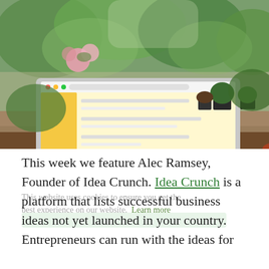[Figure (photo): A laptop on a wooden desk showing a yellow-themed webpage, with a glass of tea, potted plants on shelves, and flowers in the background. Indoor workspace with natural light from windows.]
This week we feature Alec Ramsey, Founder of Idea Crunch. Idea Crunch is a platform that lists successful business ideas not yet launched in your country. Entrepreneurs can run with the ideas for